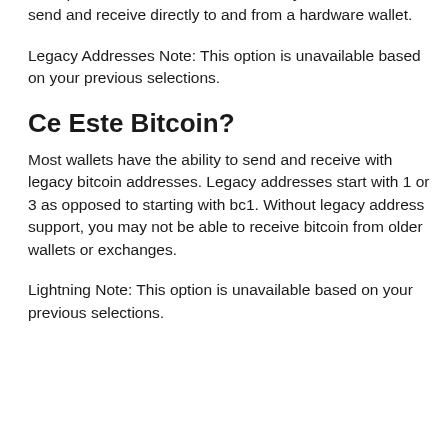a unique feature. This feature enables you to be able to send and receive directly to and from a hardware wallet.
Legacy Addresses Note: This option is unavailable based on your previous selections.
Ce Este Bitcoin?
Most wallets have the ability to send and receive with legacy bitcoin addresses. Legacy addresses start with 1 or 3 as opposed to starting with bc1. Without legacy address support, you may not be able to receive bitcoin from older wallets or exchanges.
Lightning Note: This option is unavailable based on your previous selections.